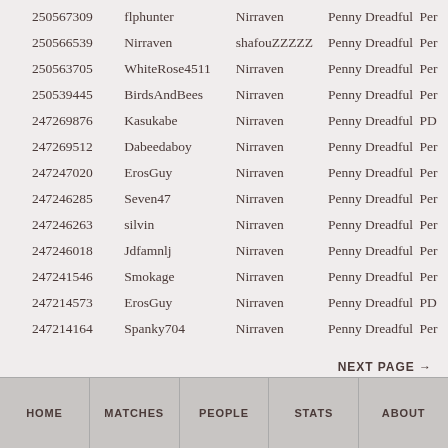| ID | User | Opponent | Show | Type |
| --- | --- | --- | --- | --- |
| 250567309 | flphunter | Nirraven | Penny Dreadful | Per |
| 250566539 | Nirraven | shafouZZZZZ | Penny Dreadful | Per |
| 250563705 | WhiteRose4511 | Nirraven | Penny Dreadful | Per |
| 250539445 | BirdsAndBees | Nirraven | Penny Dreadful | Per |
| 247269876 | Kasukabe | Nirraven | Penny Dreadful | PD |
| 247269512 | Dabeedaboy | Nirraven | Penny Dreadful | Per |
| 247247020 | ErosGuy | Nirraven | Penny Dreadful | Per |
| 247246285 | Seven47 | Nirraven | Penny Dreadful | Per |
| 247246263 | silvin | Nirraven | Penny Dreadful | Per |
| 247246018 | Jdfamnlj | Nirraven | Penny Dreadful | Per |
| 247241546 | Smokage | Nirraven | Penny Dreadful | Per |
| 247214573 | ErosGuy | Nirraven | Penny Dreadful | PD |
| 247214164 | Spanky704 | Nirraven | Penny Dreadful | Per |
NEXT PAGE →
HOME | MATCHES | PEOPLE | STATS | ABOUT